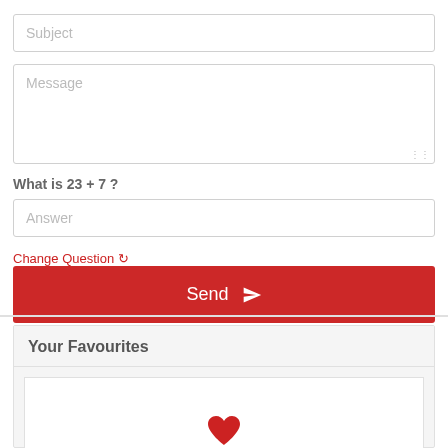[Figure (screenshot): Subject input field with placeholder text 'Subject']
[Figure (screenshot): Message textarea with placeholder text 'Message']
What is 23 + 7 ?
[Figure (screenshot): Answer input field with placeholder text 'Answer']
Change Question ↻
[Figure (screenshot): Red Send button with paper plane icon]
Your Favourites
[Figure (illustration): Red heart icon at bottom of Favourites section]